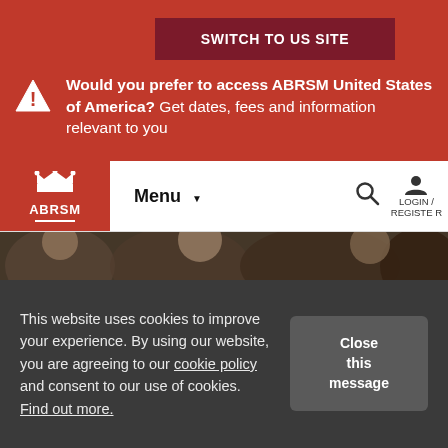SWITCH TO US SITE
Would you prefer to access ABRSM United States of America? Get dates, fees and information relevant to you
[Figure (logo): ABRSM logo with crown icon on red background]
Menu
[Figure (photo): Close-up photograph of people, hero banner image strip]
This website uses cookies to improve your experience. By using our website, you are agreeing to our cookie policy and consent to our use of cookies. Find out more.
Close this message